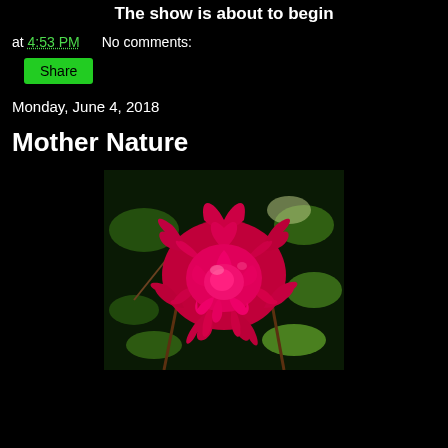The show is about to begin
at 4:53 PM   No comments:
Share
Monday, June 4, 2018
Mother Nature
[Figure (photo): Close-up photograph of a large red rose bloom with green leaves and branches in the background, taken in bright sunlight.]